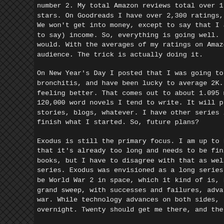number 2. My total Amazon reviews total over 1,200, with an average of 4.6 stars. On Goodreads I have over 2,300 ratings, with a 4.09 star average. We won't get into money, except to say that I am making a very co... to say) income. So, everything is going well. I would like to do eve... would. With the averages of my ratings on Amazon and Goodreads... audience. The trick is actually doing it.
On New Year's Day I posted that I was going to try for 3K words a d... bronchitis, and have been lucky to average 2K. But I believe the 3K... feeling better. That comes out to about 1.095 million words for th... 120,000 word novels I tend to write. It will probably be more like 7... stories, blogs, whatever. I have other series in mind, things I woul... finish what I started. So, future plans?
Exodus is still the primary focus. I am up to book 9 of the main sto... that it's already too long and needs to be finished. The majority op... books, but I have to disagree with that as well. I am planning a tot... series. Exodus was envisioned as a long series about a grand scale... be World War 2 in space, which it kind of is, but not completely. Be... grand sweep, with successes and failures, advances and retreats, a... war. While technology advances on both sides, there are no miracu... overnight. Twenty should get me there, and there will be at least t...